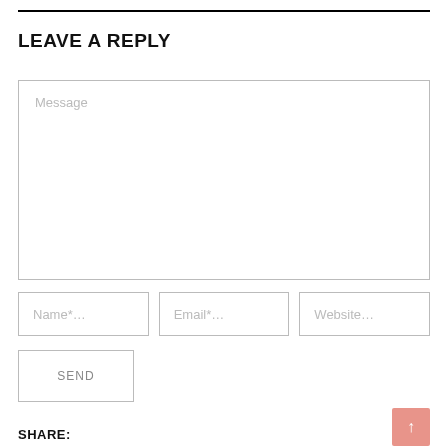LEAVE A REPLY
Message
Name*...
Email*...
Website...
SEND
SHARE: